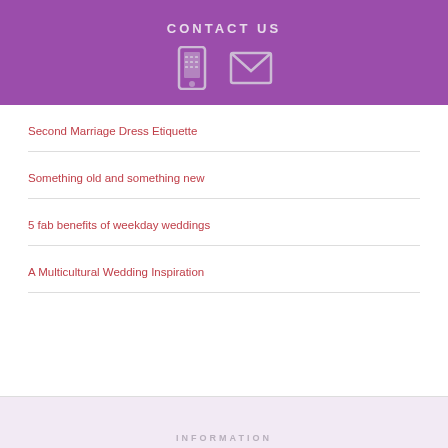CONTACT US
[Figure (illustration): Phone icon and email envelope icon in light grey on purple background]
Second Marriage Dress Etiquette
Something old and something new
5 fab benefits of weekday weddings
A Multicultural Wedding Inspiration
INFORMATION